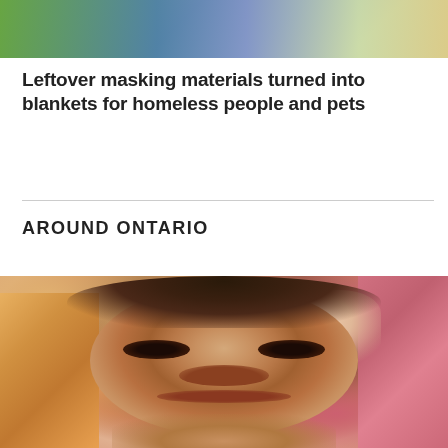[Figure (photo): Top portion of a photo showing people outdoors with green and blue clothing against a colorful background]
Leftover masking materials turned into blankets for homeless people and pets
AROUND ONTARIO
[Figure (photo): Close-up photo of a baby lying on a colorful floral blanket with pink and orange tones, looking at the camera]